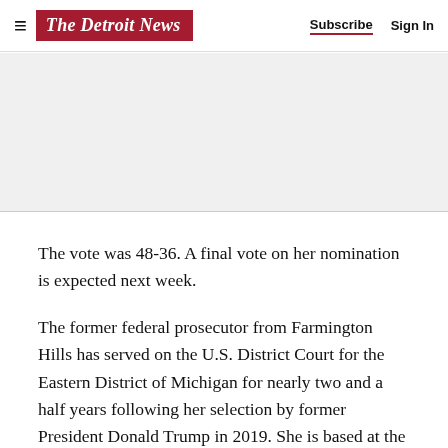The Detroit News | Subscribe | Sign In
[Figure (other): Advertisement placeholder area with light gray background]
The vote was 48-36. A final vote on her nomination is expected next week.
The former federal prosecutor from Farmington Hills has served on the U.S. District Court for the Eastern District of Michigan for nearly two and a half years following her selection by former President Donald Trump in 2019. She is based at the U.S. courthouse in Flint.